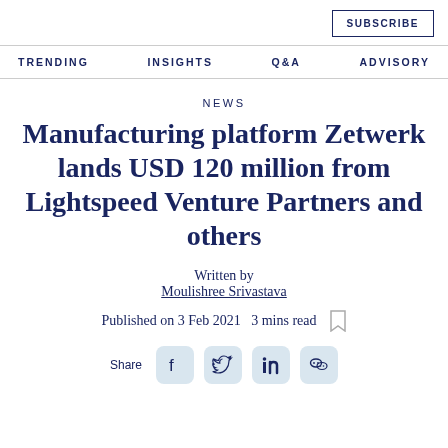SUBSCRIBE
TRENDING  INSIGHTS  Q&A  ADVISORY
NEWS
Manufacturing platform Zetwerk lands USD 120 million from Lightspeed Venture Partners and others
Written by Moulishree Srivastava
Published on 3 Feb 2021  3 mins read
Share